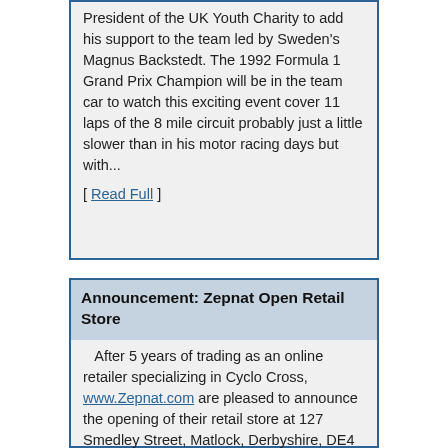President of the UK Youth Charity to add his support to the team led by Sweden's Magnus Backstedt. The 1992 Formula 1 Grand Prix Champion will be in the team car to watch this exciting event cover 11 laps of the 8 mile circuit probably just a little slower than in his motor racing days but with...
[ Read Full ]
Announcement: Zepnat Open Retail Store
After 5 years of trading as an online retailer specializing in Cyclo Cross, www.Zepnat.com are pleased to announce the opening of their retail store at 127 Smedley Street, Matlock, Derbyshire, DE4 3JG. Julian Gould Co founder of www.Zepnat.com and 5...